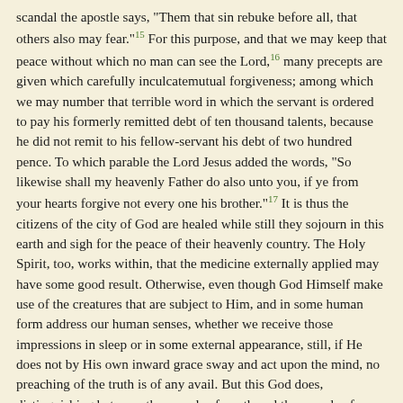scandal the apostle says, "Them that sin rebuke before all, that others also may fear."[15] For this purpose, and that we may keep that peace without which no man can see the Lord,[16] many precepts are given which carefully inculcate mutual forgiveness; among which we may number that terrible word in which the servant is ordered to pay his formerly remitted debt of ten thousand talents, because he did not remit to his fellow-servant his debt of two hundred pence. To which parable the Lord Jesus added the words, "So likewise shall my heavenly Father do also unto you, if ye from your hearts forgive not every one his brother."[17] It is thus the citizens of the city of God are healed while still they sojourn in this earth and sigh for the peace of their heavenly country. The Holy Spirit, too, works within, that the medicine externally applied may have some good result. Otherwise, even though God Himself make use of the creatures that are subject to Him, and in some human form address our human senses, whether we receive those impressions in sleep or in some external appearance, still, if He does not by His own inward grace sway and act upon the mind, no preaching of the truth is of any avail. But this God does, distinguishing between the vessels of wrath and the vessels of mercy, by His own very secret but very just providence. When He Himself aids the soul in His own hidden and wonderful ways, and the sin which dwells in our members, and is, as the apostle teaches, rather the punishment of sin, does not reign in our mortal body to